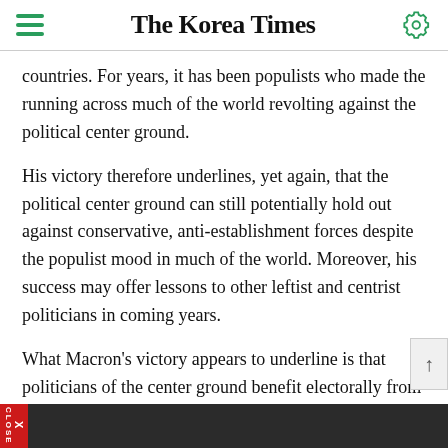The Korea Times
countries. For years, it has been populists who made the running across much of the world revolting against the political center ground.
His victory therefore underlines, yet again, that the political center ground can still potentially hold out against conservative, anti-establishment forces despite the populist mood in much of the world. Moreover, his success may offer lessons to other leftist and centrist politicians in coming years.
What Macron's victory appears to underline is that politicians of the center ground benefit electorally from having an optimistic, forward-looking vision for